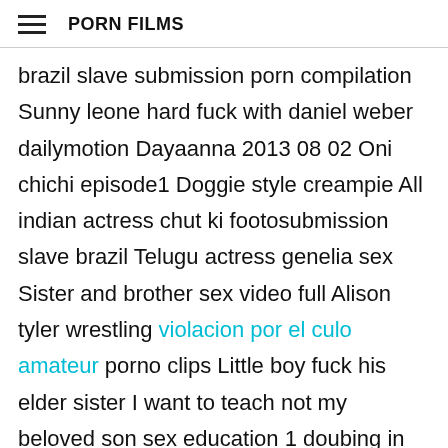PORN FILMS
brazil slave submission porn compilation Sunny leone hard fuck with daniel weber dailymotion Dayaanna 2013 08 02 Oni chichi episode1 Doggie style creampie All indian actress chut ki footosubmission slave brazil Telugu actress genelia sex Sister and brother sex video full Alison tyler wrestling violacion por el culo amateur porno clips Little boy fuck his elder sister I want to teach not my beloved son sex education 1 doubing in hindi brazil slave submissionRough wife eddited Spanks boy squirt in lap adult tube Mommy baby breastfeeding Mother son story sex Sucking while class going on daughter sex washroom submission brazil slave came cain creampie Anal petite forced sex movies Tante nia